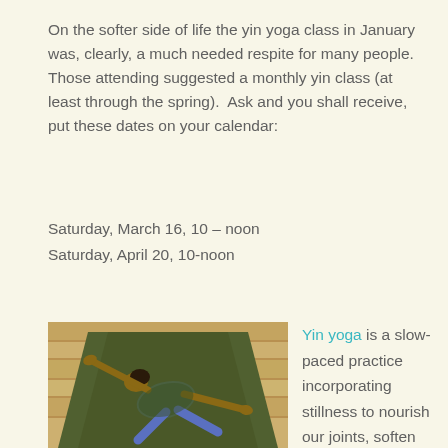On the softer side of life the yin yoga class in January was, clearly, a much needed respite for many people. Those attending suggested a monthly yin class (at least through the spring). Ask and you shall receive, put these dates on your calendar:
Saturday, March 16, 10 – noon
Saturday, April 20, 10-noon
[Figure (photo): Person practicing yin yoga on a dark green yoga mat on wooden floor, arms stretched out to the side, body twisted]
Yin yoga is a slow-paced practice incorporating stillness to nourish our joints, soften the muscles and move